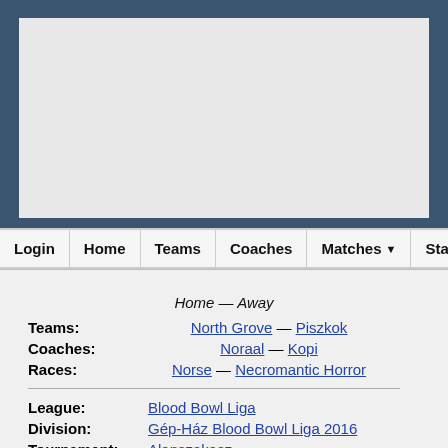[Figure (other): Advertisement/banner placeholder area, light gray rectangle]
Login | Home | Teams | Coaches | Matches | Statistics | Plugins
Home — Away
Teams: North Grove — Piszkok
Coaches: Noraal — Kopi
Races: Norse — Necromantic Horror
League: Blood Bowl Liga
Division: Gép-Ház Blood Bowl Liga 2016
Tournament: Alapszakasz
Round: Round 13